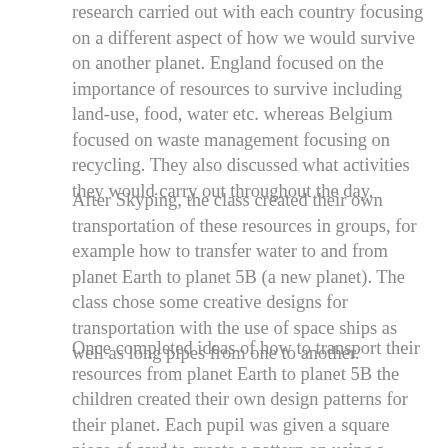research carried out with each country focusing on a different aspect of how we would survive on another planet. England focused on the importance of resources to survive including land-use, food, water etc. whereas Belgium focused on waste management focusing on recycling. They also discussed what activities they would carry out throughout the day.
After Skyping, the class created their own transportation of these resources in groups, for example how to transfer water to and from planet Earth to planet 5B (a new planet). The class chose some creative designs for transportation with the use of space ships as well as long pipes from one to another.
Once completed ideas of how to transport their resources from planet Earth to planet 5B the children created their own design patterns for their planet. Each pupil was given a square piece of card to create a pattern on using a range of materials including using watercolours, paint, pastels as well as pens and colouring pencils. Once the children had completed their pattern the squares were stuck onto a